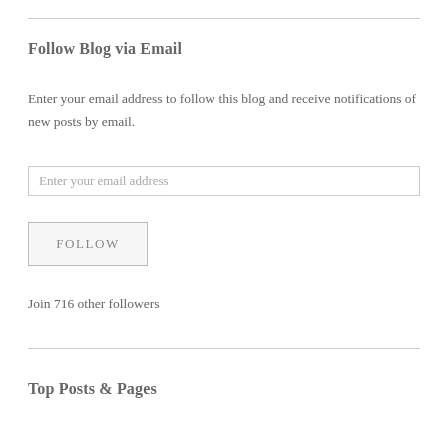Follow Blog via Email
Enter your email address to follow this blog and receive notifications of new posts by email.
Enter your email address
FOLLOW
Join 716 other followers
Top Posts & Pages